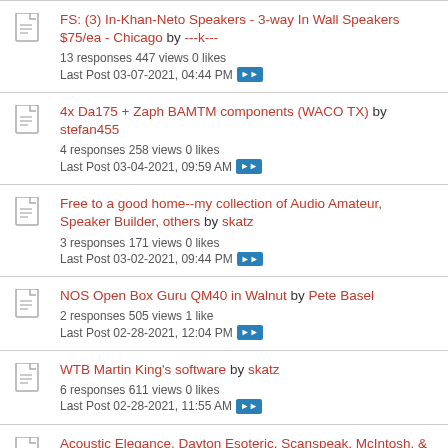FS: (3) In-Khan-Neto Speakers - 3-way In Wall Speakers $75/ea - Chicago by ---k--- | 13 responses 447 views 0 likes | Last Post 03-07-2021, 04:44 PM
4x Da175 + Zaph BAMTM components (WACO TX) by stefan455 | 4 responses 258 views 0 likes | Last Post 03-04-2021, 09:59 AM
Free to a good home--my collection of Audio Amateur, Speaker Builder, others by skatz | 3 responses 171 views 0 likes | Last Post 03-02-2021, 09:44 PM
NOS Open Box Guru QM40 in Walnut by Pete Basel | 2 responses 505 views 1 like | Last Post 02-28-2021, 12:04 PM
WTB Martin King's software by skatz | 6 responses 611 views 0 likes | Last Post 02-28-2021, 11:55 AM
Acoustic Elegance, Dayton Esoteric, Scanspeak, McIntosh, & Finemet transformers sale by Krillin | 4 responses 394 views 0 likes | Last Post 02-28-2021, 11:33 AM